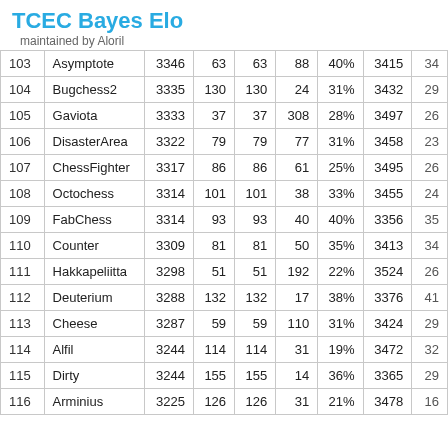TCEC Bayes Elo
maintained by Aloril
| # | Name | Elo | + | - | Games | Score | Opp. | ... |
| --- | --- | --- | --- | --- | --- | --- | --- | --- |
| 103 | Asymptote | 3346 | 63 | 63 | 88 | 40% | 3415 | 34 |
| 104 | Bugchess2 | 3335 | 130 | 130 | 24 | 31% | 3432 | 29 |
| 105 | Gaviota | 3333 | 37 | 37 | 308 | 28% | 3497 | 26 |
| 106 | DisasterArea | 3322 | 79 | 79 | 77 | 31% | 3458 | 23 |
| 107 | ChessFighter | 3317 | 86 | 86 | 61 | 25% | 3495 | 26 |
| 108 | Octochess | 3314 | 101 | 101 | 38 | 33% | 3455 | 24 |
| 109 | FabChess | 3314 | 93 | 93 | 40 | 40% | 3356 | 35 |
| 110 | Counter | 3309 | 81 | 81 | 50 | 35% | 3413 | 34 |
| 111 | Hakkapeliitta | 3298 | 51 | 51 | 192 | 22% | 3524 | 26 |
| 112 | Deuterium | 3288 | 132 | 132 | 17 | 38% | 3376 | 41 |
| 113 | Cheese | 3287 | 59 | 59 | 110 | 31% | 3424 | 29 |
| 114 | Alfil | 3244 | 114 | 114 | 31 | 19% | 3472 | 32 |
| 115 | Dirty | 3244 | 155 | 155 | 14 | 36% | 3365 | 29 |
| 116 | Arminius | 3225 | 126 | 126 | 31 | 21% | 3478 | 16 |